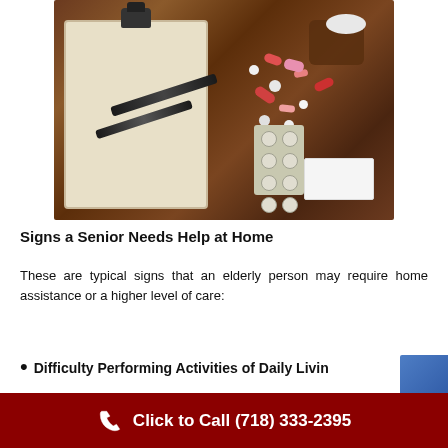[Figure (photo): Clipboard with pens and various pills/medications scattered on a wooden table, with pill bottles and blister packs visible]
Signs a Senior Needs Help at Home
These are typical signs that an elderly person may require home assistance or a higher level of care:
Difficulty Performing Activities of Daily Living
Click to Call (718) 333-2395